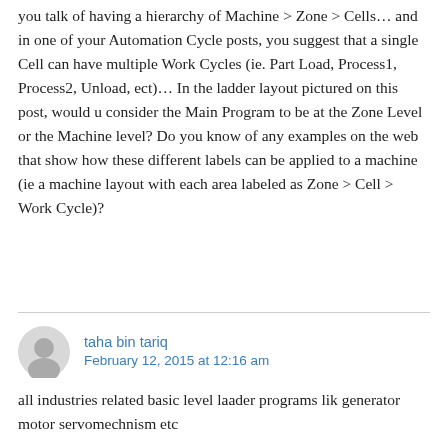you talk of having a hierarchy of Machine > Zone > Cells… and in one of your Automation Cycle posts, you suggest that a single Cell can have multiple Work Cycles (ie. Part Load, Process1, Process2, Unload, ect)… In the ladder layout pictured on this post, would u consider the Main Program to be at the Zone Level or the Machine level? Do you know of any examples on the web that show how these different labels can be applied to a machine (ie a machine layout with each area labeled as Zone > Cell > Work Cycle)?
taha bin tariq
February 12, 2015 at 12:16 am
all industries related basic level laader programs lik generator motor servomechnism etc